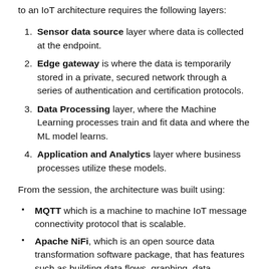to an IoT architecture requires the following layers:
Sensor data source layer where data is collected at the endpoint.
Edge gateway is where the data is temporarily stored in a private, secured network through a series of authentication and certification protocols.
Data Processing layer, where the Machine Learning processes train and fit data and where the ML model learns.
Application and Analytics layer where business processes utilize these models.
From the session, the architecture was built using:
MQTT which is a machine to machine IoT message connectivity protocol that is scalable.
Apache NiFi, which is an open source data transformation software package, that has features such as building data flows, graphing, data buffering, prioritized queuing, push and pull models, visual